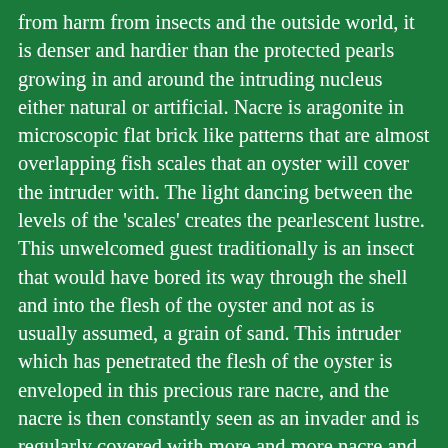from harm from insects and the outside world, it is denser and hardier than the protected pearls growing in and around the intruding nucleus either natural or artificial. Nacre is aragonite in microscopic flat brick like patterns that are almost overlapping fish scales that an oyster will cover the intruder with. The light dancing between the levels of the 'scales' creates the pearlescent lustre. This unwelcomed guest traditionally is an insect that would have bored its way through the shell and into the flesh of the oyster and not as is usually assumed, a grain of sand. This intruder which has penetrated the flesh of the oyster is enveloped in this precious rare nacre, and the nacre is then constantly seen as an invader and is regularly covered with more and more nacre and when the oyster is opened it contains this exquisite treasure that the ancients believed were the tears of the moon. This was believed to be achieved when the oysters used to open to the full moon and catch her